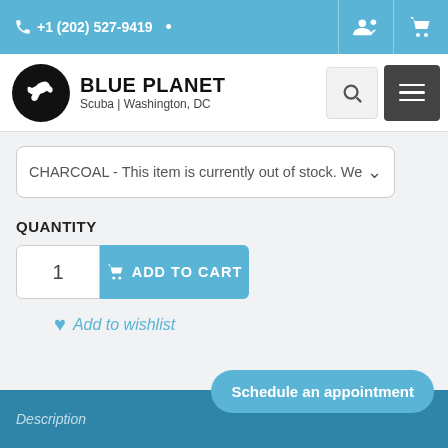+1 (202) 527-9419
[Figure (logo): Blue Planet Scuba Washington DC logo — black circle with white diver silhouette, bold text BLUE PLANET, subtitle Scuba | Washington, DC]
CHARCOAL - This item is currently out of stock. We
QUANTITY
1
ADD TO CART
Add to wishlist
Description
Schedule an appointment